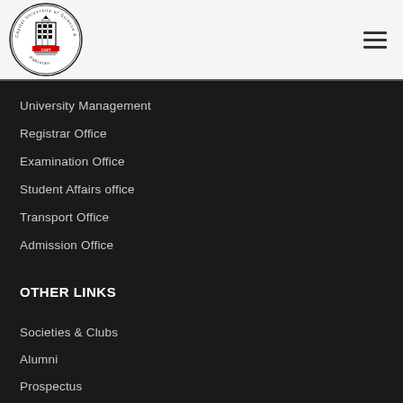[Figure (logo): CUST - Capital University of Science & Technology Pakistan circular logo with building illustration]
University Management
Registrar Office
Examination Office
Student Affairs office
Transport Office
Admission Office
OTHER LINKS
Societies & Clubs
Alumni
Prospectus